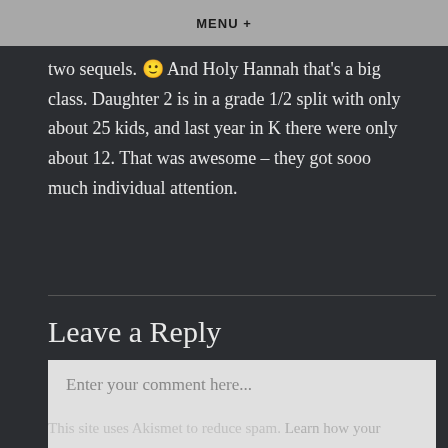MENU +
two sequels. 🙂 And Holy Hannah that's a big class. Daughter 2 is in a grade 1/2 split with only about 25 kids, and last year in K there were only about 12. That was awesome – they got sooo much individual attention.
Leave a Reply
Enter your comment here...
This site uses Akismet to reduce spam. Learn how your